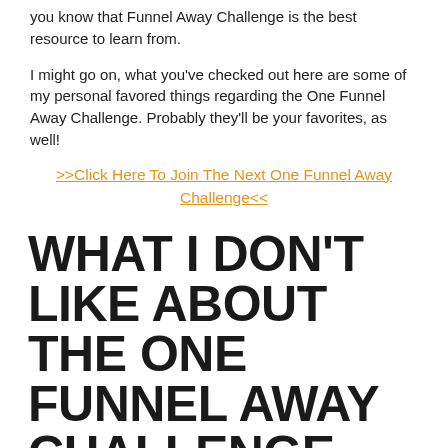you know that Funnel Away Challenge is the best resource to learn from.
I might go on, what you've checked out here are some of my personal favored things regarding the One Funnel Away Challenge. Probably they'll be your favorites, as well!
>>Click Here To Join The Next One Funnel Away Challenge<<
WHAT I DON'T LIKE ABOUT THE ONE FUNNEL AWAY CHALLENGE.